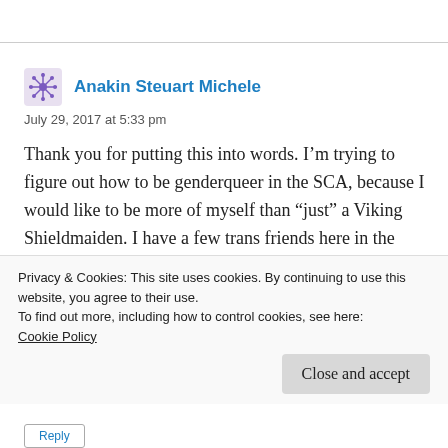Anakin Steuart Michele
July 29, 2017 at 5:33 pm
Thank you for putting this into words. I’m trying to figure out how to be genderqueer in the SCA, because I would like to be more of myself than “just” a Viking Shieldmaiden. I have a few trans friends here in the East. And we definitely need to include more non-white
Privacy & Cookies: This site uses cookies. By continuing to use this website, you agree to their use.
To find out more, including how to control cookies, see here:
Cookie Policy
Close and accept